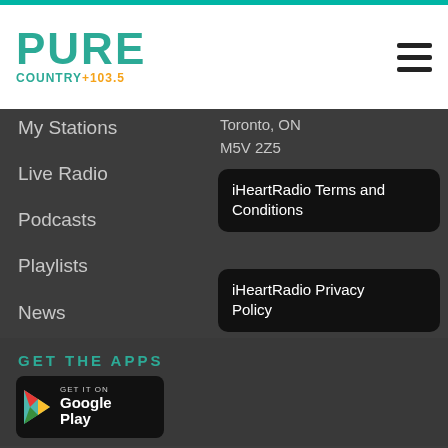[Figure (logo): Pure Country 103.5 logo with teal PURE text and orange/teal COUNTRY+103.5 subtext]
My Stations
Live Radio
Podcasts
Playlists
News
Features
Events
Contests
Toronto, ON
M5V 2Z5
iHeartRadio Terms and Conditions
iHeartRadio Privacy Policy
Contact Us
Political Ad Registry
Accessibility
GET THE APPS
[Figure (screenshot): Google Play store badge with triangle play icon, GET IT ON text, and Google Play text]